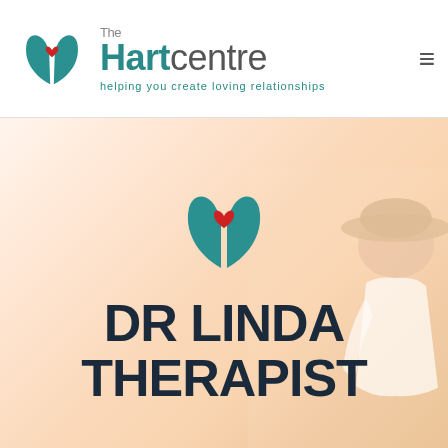[Figure (logo): The Hart Centre logo: teal hands cradling a red heart, with 'The Hartcentre' text and tagline 'helping you create loving relationships']
[Figure (photo): Website screenshot showing The Hart Centre header with logo and navigation hamburger menu, followed by a hero section with a large teal hands/heart logo icon, bold text 'DR LINDA THERAPIST', and a silhouette of a woman in a hat and white dress on the right side against a warm peach/cream background.]